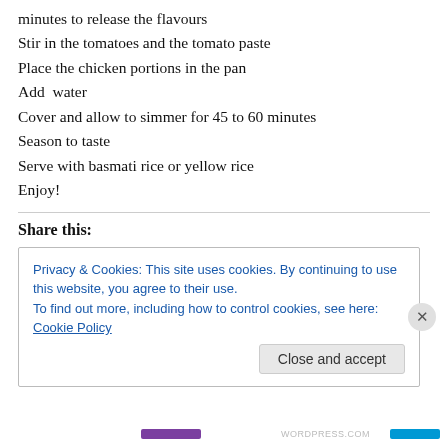minutes to release the flavours
Stir in the tomatoes and the tomato paste
Place the chicken portions in the pan
Add  water
Cover and allow to simmer for 45 to 60 minutes
Season to taste
Serve with basmati rice or yellow rice
Enjoy!
Share this:
Privacy & Cookies: This site uses cookies. By continuing to use this website, you agree to their use.
To find out more, including how to control cookies, see here: Cookie Policy
Close and accept